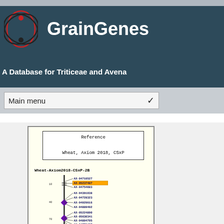GrainGenes
A Database for Triticeae and Avena
Main menu
[Figure (other): Genetic map viewer showing Wheat-Axiom2018-CSxP-2B chromosome with markers listed including AX-94710527, AX-95237487 (highlighted in orange), AX-94754683, AX-94391038, AX-94728323, AX-94929616, AX-94889492, AX-95224890, AX-95630341, AX-94894705, AX-94778437, AX-95150218, AX-94901457, AX-94708203, AX-95193345, AX-94838306, AX-94518823, AX-94982820, AX-95104191, AX-94937912, AX-94832323. Reference box shows: Wheat, Axiom 2018, CSxP]